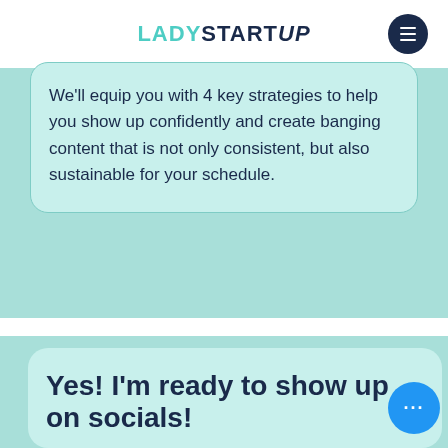LADYSTARTUP
We'll equip you with 4 key strategies to help you show up confidently and create banging content that is not only consistent, but also sustainable for your schedule.
Yes! I'm ready to show up on socials!